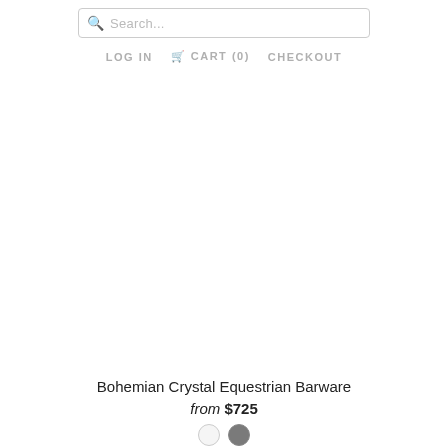Search... | LOG IN  CART (0)  CHECKOUT
[Figure (photo): Product image area for Bohemian Crystal Equestrian Barware — white/blank image placeholder]
Bohemian Crystal Equestrian Barware
from $725
[Figure (other): Two color swatches: white circle and dark gray circle]